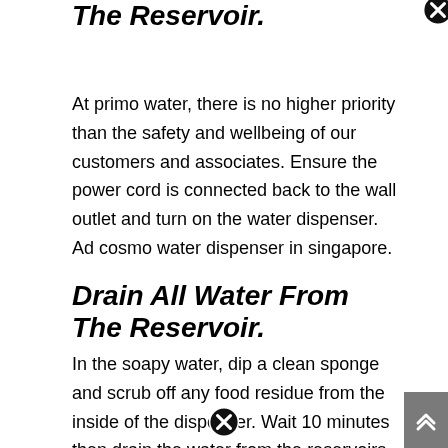The Reservoir.
At primo water, there is no higher priority than the safety and wellbeing of our customers and associates. Ensure the power cord is connected back to the wall outlet and turn on the water dispenser. Ad cosmo water dispenser in singapore.
Drain All Water From The Reservoir.
In the soapy water, dip a clean sponge and scrub off any food residue from the inside of the dispenser. Wait 10 minutes then drain the water from the reservoirs as described in step 5. Besides, remember to clean dispenser's screen.